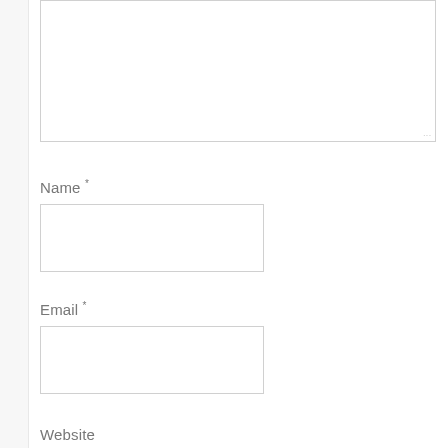[Figure (screenshot): Web form with a large textarea at the top (partially visible), followed by labeled input fields for Name, Email, and Website (partially cut off at bottom). Each label has an asterisk superscript indicating required fields.]
Name *
Email *
Website